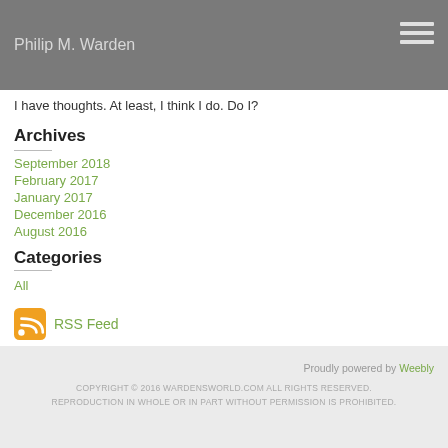Philip M. Warden
I have thoughts. At least, I think I do. Do I?
Archives
September 2018
February 2017
January 2017
December 2016
August 2016
Categories
All
RSS Feed
Proudly powered by Weebly
COPYRIGHT © 2016 WARDENSWORLD.COM ALL RIGHTS RESERVED. REPRODUCTION IN WHOLE OR IN PART WITHOUT PERMISSION IS PROHIBITED.